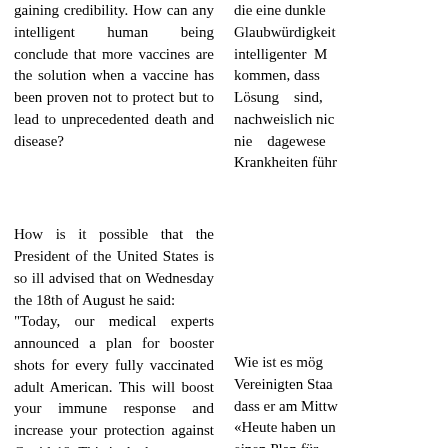gaining credibility. How can any intelligent human being conclude that more vaccines are the solution when a vaccine has been proven not to protect but to lead to unprecedented death and disease?
die eine dunkle Glaubwürdigkeit intelligenter M kommen, dass Lösung sind, nachweislich nic nie dagewese Krankheiten führ
How is it possible that the President of the United States is so ill advised that on Wednesday the 18th of August he said:
"Today, our medical experts announced a plan for booster shots for every fully vaccinated adult American. This will boost your immune response and increase your protection against Covid-19. This is the best way to protect us from new variants that could emerge." The American president's statement is utter ignorance and sky-scraping nonsense.
Wie ist es mög Vereinigten Staa dass er am Mittw «Heute haben un einen Plan für  jeden vollständ Amerikaner ang Immunantwort s Covid-19 erhöhe uns vor neuen  auftreten könnt